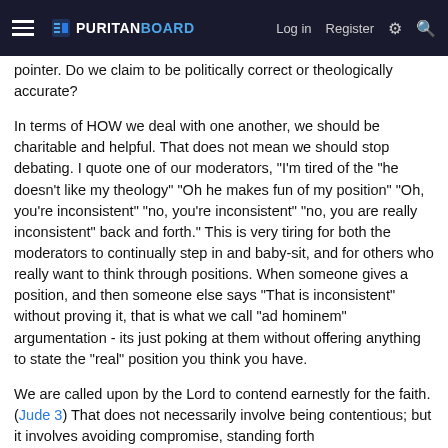PURITAN BOARD — Log in  Register
pointer. Do we claim to be politically correct or theologically accurate?
In terms of HOW we deal with one another, we should be charitable and helpful. That does not mean we should stop debating. I quote one of our moderators, "I'm tired of the &quot;he doesn't like my theology&quot; &quot;Oh he makes fun of my position&quot; &quot;Oh, you're inconsistent&quot; &quot;no, you're inconsistent&quot; &quot;no, you are really inconsistent&quot; back and forth." This is very tiring for both the moderators to continually step in and baby-sit, and for others who really want to think through positions. When someone gives a position, and then someone else says "That is inconsistent" without proving it, that is what we call "ad hominem" argumentation - its just poking at them without offering anything to state the "real" position you think you have.
We are called upon by the Lord to contend earnestly for the faith. (Jude 3) That does not necessarily involve being contentious; but it involves avoiding compromise, standing forth